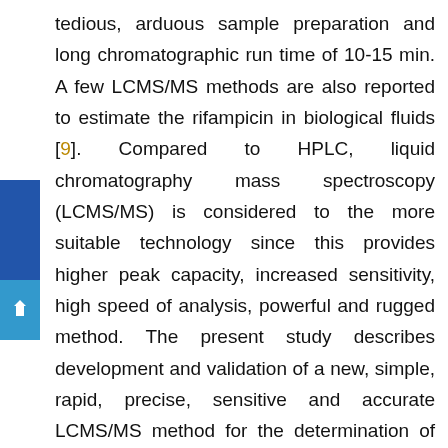tedious, arduous sample preparation and long chromatographic run time of 10-15 min. A few LCMS/MS methods are also reported to estimate the rifampicin in biological fluids [9]. Compared to HPLC, liquid chromatography mass spectroscopy (LCMS/MS) is considered to the more suitable technology since this provides higher peak capacity, increased sensitivity, high speed of analysis, powerful and rugged method. The present study describes development and validation of a new, simple, rapid, precise, sensitive and accurate LCMS/MS method for the determination of rifamicin in plasma.
Materials and Methods